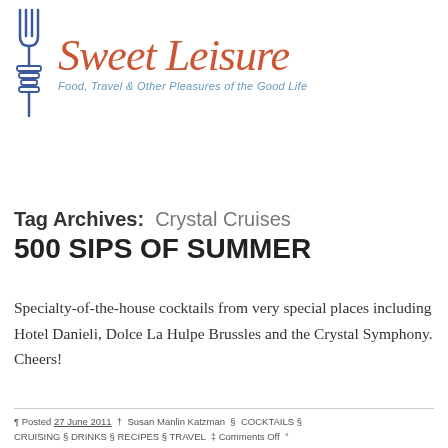[Figure (logo): Sweet Leisure blog logo with a blue fork/skewer icon on the left and the cursive orange-red text 'Sweet Leisure' with blue italic tagline 'Food, Travel & Other Pleasures of the Good Life']
Tag Archives:  Crystal Cruises
500 SIPS OF SUMMER
Specialty-of-the-house cocktails from very special places including Hotel Danieli, Dolce La Hulpe Brussles and the Crystal Symphony. Cheers!
¶ Posted 27 June 2011  †  Susan Manlin Katzman  §  COCKTAILS §  CRUISING §  DRINKS §  RECIPES §  TRAVEL  ‡ Comments Off  °